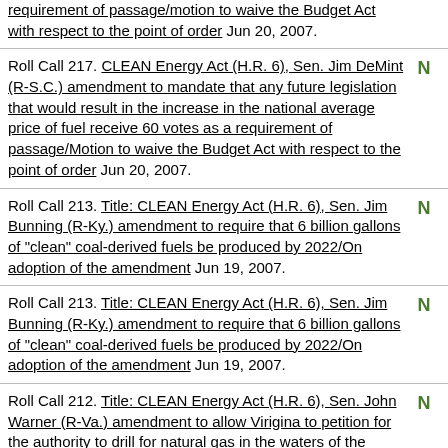requirement of passage/motion to waive the Budget Act with respect to the point of order Jun 20, 2007.
Roll Call 217. CLEAN Energy Act (H.R. 6), Sen. Jim DeMint (R-S.C.) amendment to mandate that any future legislation that would result in the increase in the national average price of fuel receive 60 votes as a requirement of passage/Motion to waive the Budget Act with respect to the point of order Jun 20, 2007.
Roll Call 213. Title: CLEAN Energy Act (H.R. 6), Sen. Jim Bunning (R-Ky.) amendment to require that 6 billion gallons of "clean" coal-derived fuels be produced by 2022/On adoption of the amendment Jun 19, 2007.
Roll Call 213. Title: CLEAN Energy Act (H.R. 6), Sen. Jim Bunning (R-Ky.) amendment to require that 6 billion gallons of "clean" coal-derived fuels be produced by 2022/On adoption of the amendment Jun 19, 2007.
Roll Call 212. Title: CLEAN Energy Act (H.R. 6), Sen. John Warner (R-Va.) amendment to allow Virigina to petition for the authority to drill for natural gas in the waters of the Atlantic Ocean on the state's coast/On